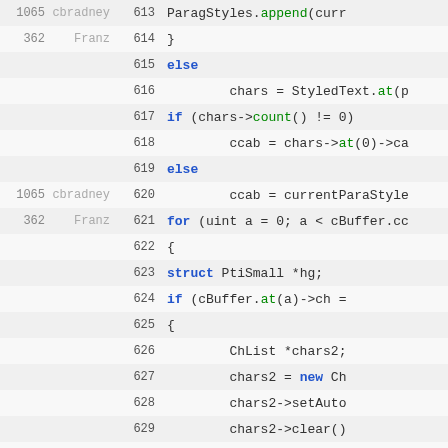[Figure (screenshot): Source code viewer showing lines 613-633 with revision numbers, author names, line numbers, and code content in a monospace font with syntax highlighting. Keywords in blue-bold, method calls in green, plain code in dark.]